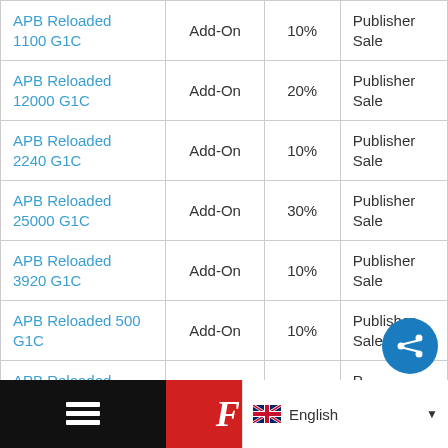|  |  |  |  |
| --- | --- | --- | --- |
| APB Reloaded 1100 G1C | Add-On | 10% | Publisher Sale |
| APB Reloaded 12000 G1C | Add-On | 20% | Publisher Sale |
| APB Reloaded 2240 G1C | Add-On | 10% | Publisher Sale |
| APB Reloaded 25000 G1C | Add-On | 30% | Publisher Sale |
| APB Reloaded 3920 G1C | Add-On | 10% | Publisher Sale |
| APB Reloaded 500 G1C | Add-On | 10% | Publisher Sale |
| APB Reloaded 5700 G1C | Add-On | 20% | Publisher Sale |
English